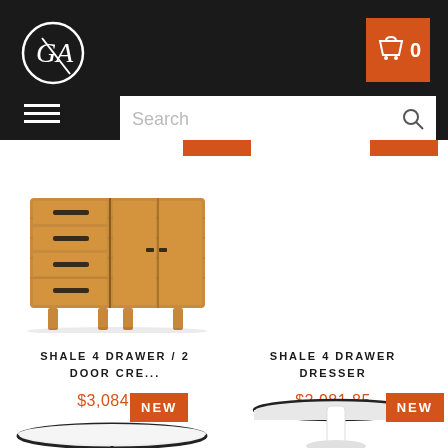[Figure (screenshot): E-commerce website header with dark background, logo (circle with G/A letters), orange cart button with 0 count, hamburger menu icon, and search bar]
[Figure (photo): Shale 4 Drawer / 2 Door Credenza wooden furniture product photo - mid-century modern walnut wood sideboard]
SHALE 4 DRAWER / 2 DOOR CRE...
$3,084.85
SHALE 4 DRAWER DRESSER
$2,981.85
NEW
NEW
[Figure (photo): Partial view of a round white table top with black edge from below - bottom of page]
[Figure (photo): Partial view of a round white pedestal table - bottom right of page]